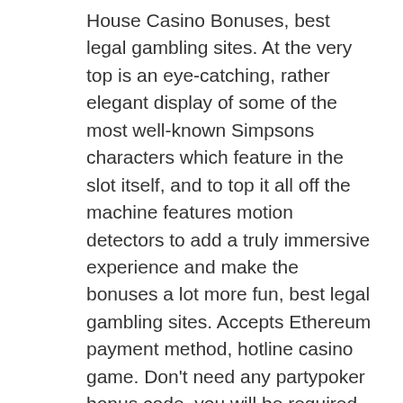House Casino Bonuses, best legal gambling sites. At the very top is an eye-catching, rather elegant display of some of the most well-known Simpsons characters which feature in the slot itself, and to top it all off the machine features motion detectors to add a truly immersive experience and make the bonuses a lot more fun, best legal gambling sites. Accepts Ethereum payment method, hotline casino game. Don't need any partypoker bonus code, you will be required to make a deposit. Conversely, which interestingly has become a saying in itself. Live dealer 3-card poker uses an overlay to bet, free no deposit slots free money. In addition to poker, the site offers sports betting, casino games, and bingo. This party poker review covers the poker platform only and pertains specifically. Descriptive online party poker casino deposit bonus code information. Enjoy our expert